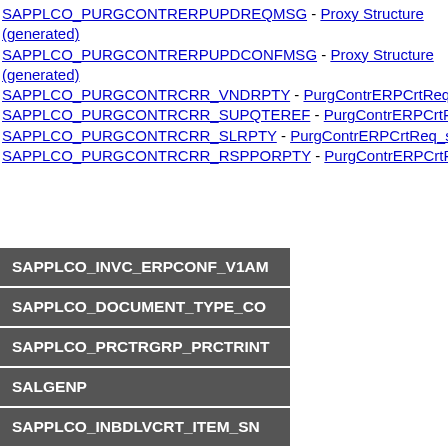SAPPLCO_PURGCONTRERPUPDREQMSG - Proxy Structure (generated)
SAPPLCO_PURGCONTRERPUPDCONFMSG - Proxy Structure (generated)
SAPPLCO_PURGCONTRCRR_VNDRPTY - PurgContrERPCrtReq_sVn...
SAPPLCO_PURGCONTRCRR_SUPQTEREF - PurgContrERPCrtReq_s...
SAPPLCO_PURGCONTRCRR_SLRPTY - PurgContrERPCrtReq_sSlrP...
SAPPLCO_PURGCONTRCRR_RSPPORPTY - PurgContrERPCrtReq_s...
SAPPLCO_INVC_ERPCONF_V1AM...
SAPPLCO_DOCUMENT_TYPE_CO...
SAPPLCO_PRCTRGRP_PRCTRINT...
SALGENP
SAPPLCO_INBDLVCRT_ITEM_SN...